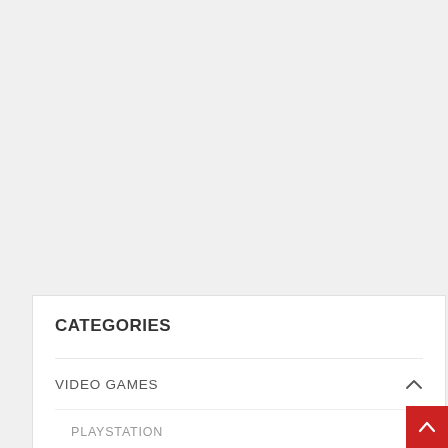CATEGORIES
VIDEO GAMES
PLAYSTATION
NINTENDO